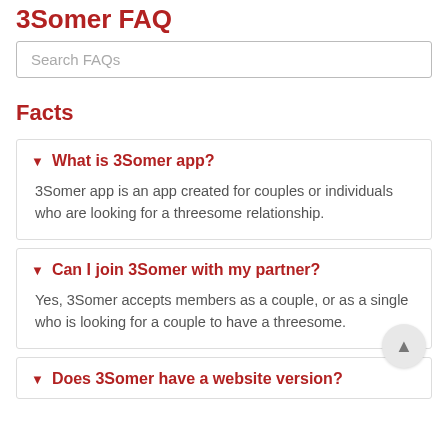3Somer FAQ
Search FAQs
Facts
What is 3Somer app?
3Somer app is an app created for couples or individuals who are looking for a threesome relationship.
Can I join 3Somer with my partner?
Yes, 3Somer accepts members as a couple, or as a single who is looking for a couple to have a threesome.
Does 3Somer have a website version?